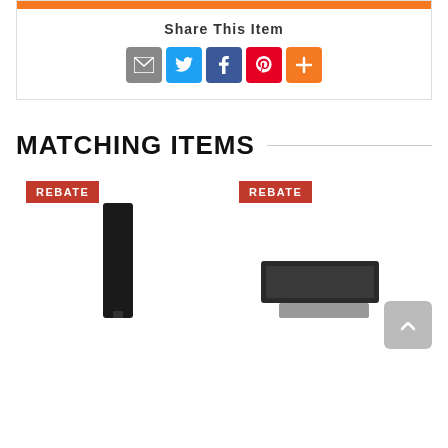[Figure (other): Orange bar at top of share section]
Share This Item
[Figure (other): Social share icons: email (gray), Twitter (blue), Facebook (dark blue), Pinterest (red), More (orange)]
MATCHING ITEMS
[Figure (photo): Product card 1 with REBATE badge and tall slim dark refrigerator/appliance image]
[Figure (photo): Product card 2 with REBATE badge and dark soundbar/flat appliance image]